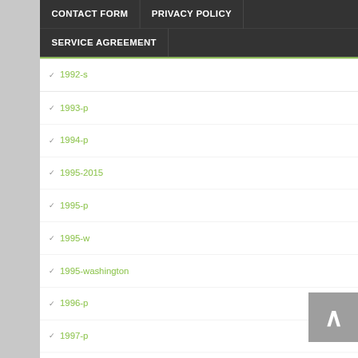CONTACT FORM | PRIVACY POLICY | SERVICE AGREEMENT
1992-s
1993-p
1994-p
1995-2015
1995-p
1995-w
1995-washington
1996-p
1997-p
1998-p
1999-p
2-coin